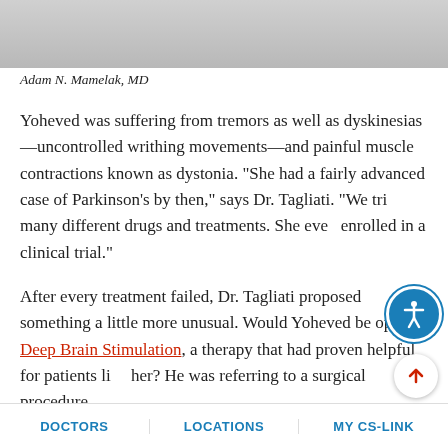[Figure (photo): Partial photo of a doctor (Adam N. Mamelak, MD) in a white coat, cropped at the top]
Adam N. Mamelak, MD
Yoheved was suffering from tremors as well as dyskinesias—uncontrolled writhing movements—and painful muscle contractions known as dystonia. "She had a fairly advanced case of Parkinson's by then," says Dr. Tagliati. "We tried many different drugs and treatments. She even enrolled in a clinical trial."
After every treatment failed, Dr. Tagliati proposed something a little more unusual. Would Yoheved be open to Deep Brain Stimulation, a therapy that had proven helpful for patients like her? He was referring to a surgical procedure
DOCTORS | LOCATIONS | MY CS-LINK